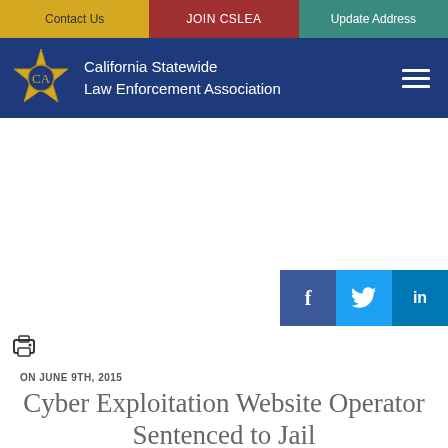Contact Us | JOIN CSLEA | Update Address
[Figure (logo): California Statewide Law Enforcement Association header with star badge logo and navigation hamburger menu]
[Figure (other): Advertisement space (blank white area)]
[Figure (other): Social media share buttons: Facebook (f), Twitter (bird), LinkedIn (in)]
[Figure (other): Print icon (printer)]
ON JUNE 9TH, 2015
Cyber Exploitation Website Operator Sentenced to Jail
SAN FRANCISCO – On